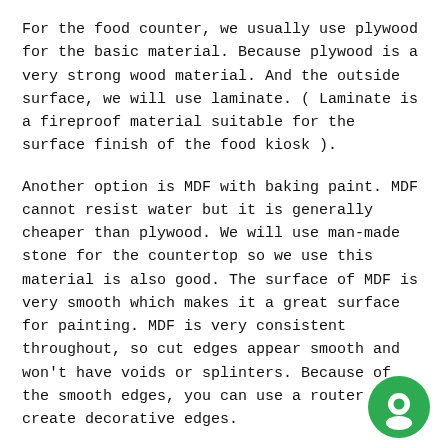For the food counter, we usually use plywood for the basic material. Because plywood is a very strong wood material. And the outside surface, we will use laminate. ( Laminate is a fireproof material suitable for the surface finish of the food kiosk ).
Another option is MDF with baking paint. MDF cannot resist water but it is generally cheaper than plywood. We will use man-made stone for the countertop so we use this material is also good. The surface of MDF is very smooth which makes it a great surface for painting. MDF is very consistent throughout, so cut edges appear smooth and won't have voids or splinters. Because of the smooth edges, you can use a router to create decorative edges.
Please feel free to contact us at email sales08@uniquekiosk.com for more details. Thanks a lot!
[Figure (illustration): Green circular chat/message bubble icon in the bottom right corner]